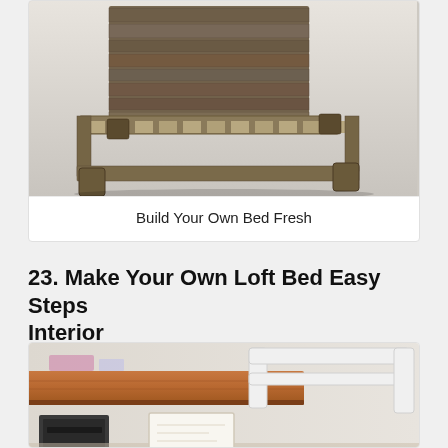[Figure (photo): A reclaimed wood bed frame with a tall headboard and low-profile platform style, photographed against a white/grey studio background. The wood has a weathered, rustic appearance with horizontal planks.]
Build Your Own Bed Fresh
23. Make Your Own Loft Bed Easy Steps Interior
[Figure (photo): Close-up photo of a loft bed setup. The image shows the wooden platform of a loft bed in warm orange/brown tones with white metal safety rails, and below it shows a desk area with a printer and framed artwork against a beige wall.]